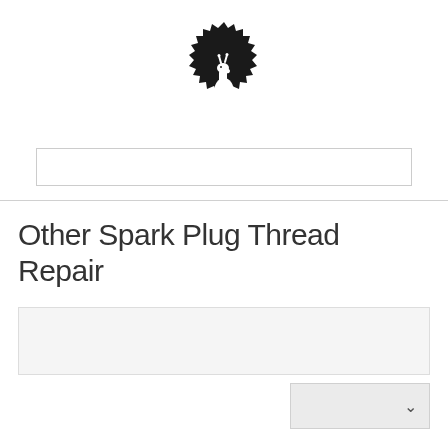[Figure (logo): Black circular badge with jagged/gear-like edge containing a white silhouette of a giraffe standing]
Other Spark Plug Thread Repair